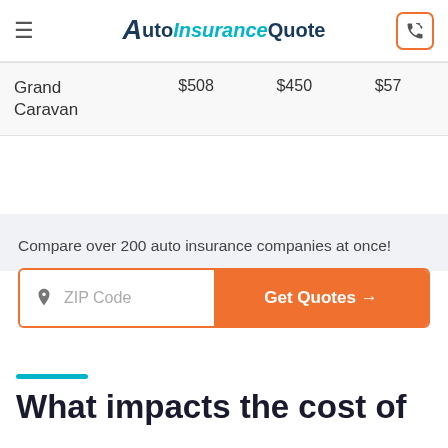AutoInsuranceQuote
| Grand Caravan | $508 | $450 | $57 |
Compare over 200 auto insurance companies at once!
[Figure (other): ZIP Code input field with Get Quotes button]
What impacts the cost of